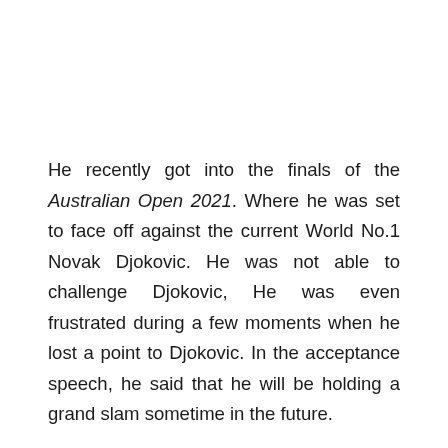He recently got into the finals of the Australian Open 2021. Where he was set to face off against the current World No.1 Novak Djokovic. He was not able to challenge Djokovic, He was even frustrated during a few moments when he lost a point to Djokovic. In the acceptance speech, he said that he will be holding a grand slam sometime in the future.
In the post match press conference Medvedev